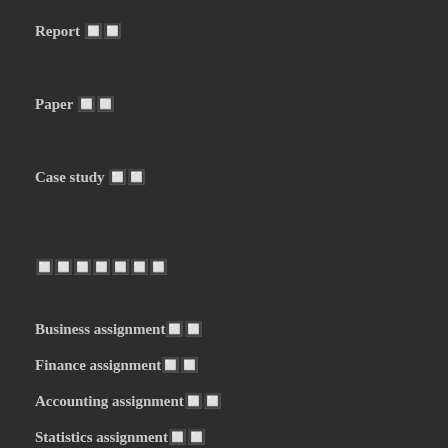Report 🔲🔲
Paper 🔲🔲
Case study 🔲🔲
🔲🔲🔲🔲🔲🔲🔲
Business assignment🔲🔲
Finance assignment🔲🔲
Accounting assignment🔲🔲
Statistics assignment🔲🔲
Humanities Assignment🔲🔲
IT assignment🔲🔲
Management assignment🔲🔲
Marketing assignment🔲🔲